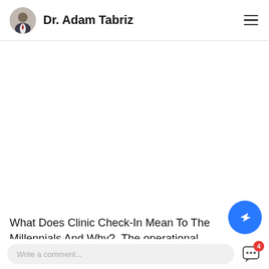Dr. Adam Tabriz
[Figure (photo): Blank white content area where a featured article image would appear]
What Does Clinic Check-In Mean To The Millennials And Why?. The operational aspect of a Medical practice has been the target of our recent